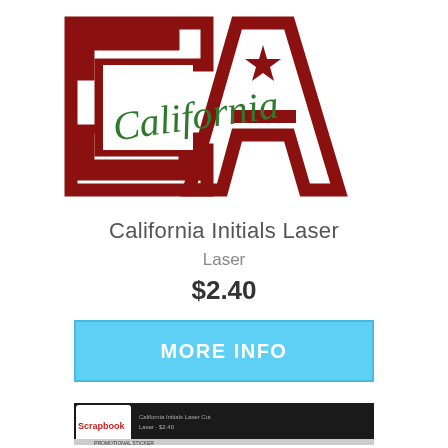[Figure (logo): California Initials Laser logo — large block letters 'CA' in dark red/maroon with white outlines, overlaid with green cursive 'California' script and a red star in the center]
California Initials Laser
Laser
$2.40
MORE INFO
[Figure (screenshot): Scrapbook product listing thumbnail/banner at the bottom of the page]